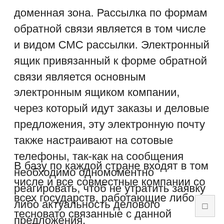доменная зона. Рассылка по формам обратной связи является в том числе и видом СМС рассылки. Электронный ящик привязанный к форме обратной связи является основным электронным ящиком компании, через который идут заказы и деловые предложения, эту электронную почту также настраивают на сотовые телефоны, так-как на сообщения необходимо одномоментно реагировать, чтоб не утратить заявку либо актуальность делового предложения.
В базу по каждой стране входят в том числе и все совместные компании со всех государств, работающие либо тесновато связанные с данной государством, к примеру национали